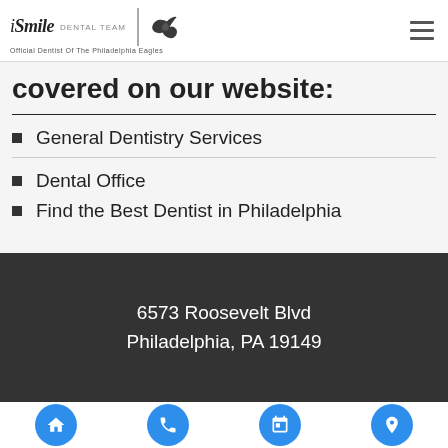iSmile Dental Team — Official Dentist Of The Philadelphia Eagles
covered on our website:
General Dentistry Services
Dental Office
Find the Best Dentist in Philadelphia
6573 Roosevelt Blvd
Philadelphia, PA 19149